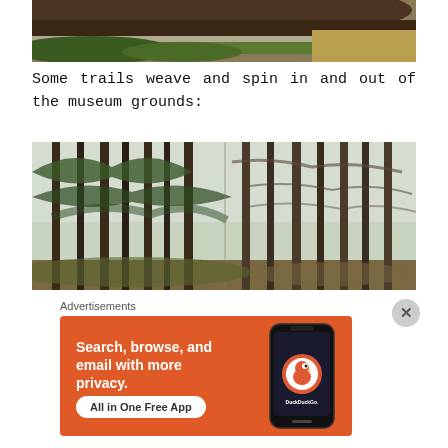[Figure (photo): Top portion of a grassy hillside with dirt mound and ivy/ground cover, partially cropped landscape photo]
Some trails weave and spin in and out of the museum grounds:
[Figure (photo): Forest scene showing tall pine and deciduous trees with bare branches against a light sky, viewed from below]
Advertisements
[Figure (infographic): DuckDuckGo advertisement banner with orange background showing 'Search, browse, and email with more privacy. All in One Free App' with DuckDuckGo logo and phone mockup]